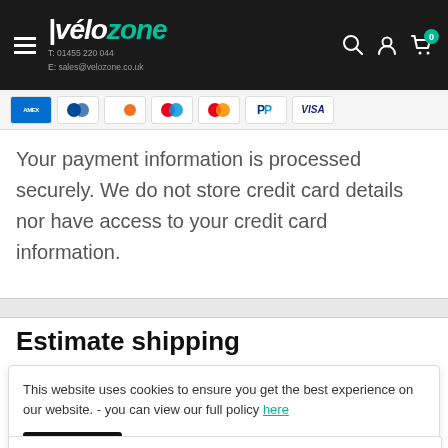vélozone — T: 01455 220 044 E: sales@velozone.co.uk
[Figure (other): Payment method icons: American Express, Diners Club, Discover, Maestro, Mastercard, PayPal, Visa]
Your payment information is processed securely. We do not store credit card details nor have access to your credit card information.
Estimate shipping
Country
This website uses cookies to ensure you get the best experience on our website. - you can view our full policy here
Accept